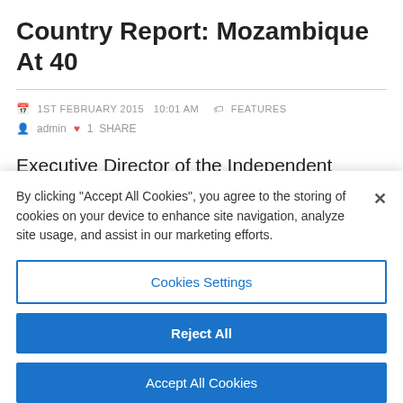Country Report: Mozambique At 40
1ST FEBRUARY 2015  10:01 am   FEATURES
admin  ♥ 1  SHARE
Executive Director of the Independent Permanent Human Rights Commission...
By clicking "Accept All Cookies", you agree to the storing of cookies on your device to enhance site navigation, analyze site usage, and assist in our marketing efforts.
Cookies Settings
Reject All
Accept All Cookies